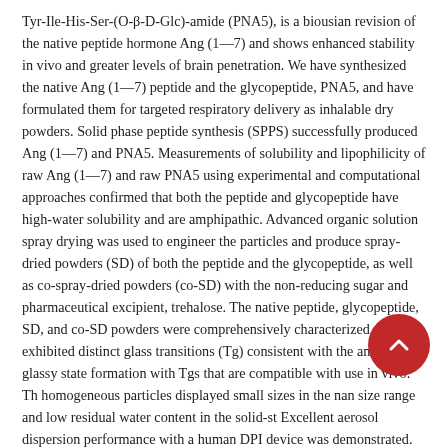Tyr-Ile-His-Ser-(O-β-D-Glc)-amide (PNA5), is a biousian revision of the native peptide hormone Ang (1—7) and shows enhanced stability in vivo and greater levels of brain penetration. We have synthesized the native Ang (1—7) peptide and the glycopeptide, PNA5, and have formulated them for targeted respiratory delivery as inhalable dry powders. Solid phase peptide synthesis (SPPS) successfully produced Ang (1—7) and PNA5. Measurements of solubility and lipophilicity of raw Ang (1—7) and raw PNA5 using experimental and computational approaches confirmed that both the peptide and glycopeptide have high-water solubility and are amphipathic. Advanced organic solution spray drying was used to engineer the particles and produce spray-dried powders (SD) of both the peptide and the glycopeptide, as well as co-spray-dried powders (co-SD) with the non-reducing sugar and pharmaceutical excipient, trehalose. The native peptide, glycopeptide, SD, and co-SD powders were comprehensively characterized, and exhibited distinct glass transitions (Tg) consistent with the amorphous glassy state formation with Tgs that are compatible with use in vivo. The homogeneous particles displayed small sizes in the nano size range and low residual water content in the solid-state. Excellent aerosol dispersion performance with a human DPI device was demonstrated. In vitro human cell viability assays